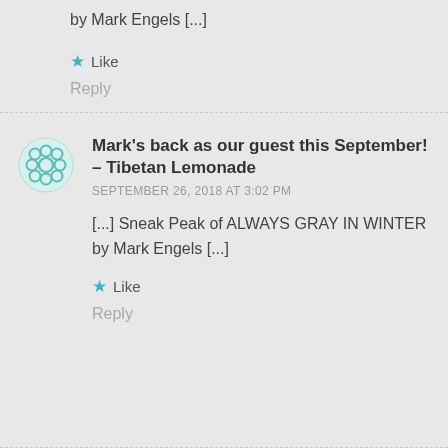by Mark Engels [...]
★ Like
Reply
Mark's back as our guest this September! – Tibetan Lemonade
SEPTEMBER 26, 2018 AT 3:02 PM
[...] Sneak Peak of ALWAYS GRAY IN WINTER by Mark Engels [...]
★ Like
Reply